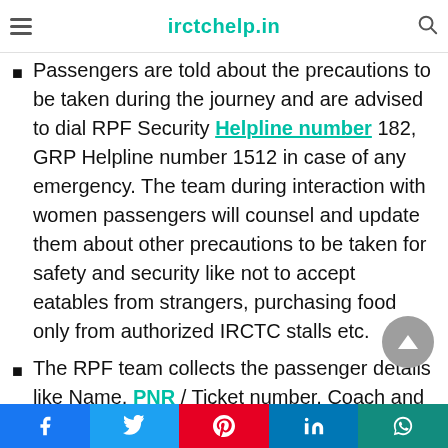irctchelp.in
Passengers are told about the precautions to be taken during the journey and are advised to dial RPF Security Helpline number 182, GRP Helpline number 1512 in case of any emergency. The team during interaction with women passengers will counsel and update them about other precautions to be taken for safety and security like not to accept eatables from strangers, purchasing food only from authorized IRCTC stalls etc.
The RPF team collects the passenger details like Name, PNR / Ticket number, Coach and Berth number etc of the